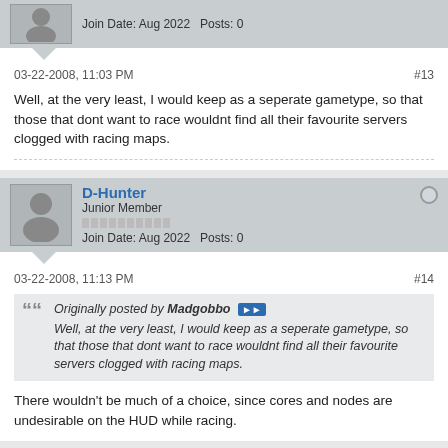Join Date: Aug 2022   Posts: 0
03-22-2008, 11:03 PM
#13
Well, at the very least, I would keep as a seperate gametype, so that those that dont want to race wouldnt find all their favourite servers clogged with racing maps.
D-Hunter
Junior Member
Join Date: Aug 2022   Posts: 0
03-22-2008, 11:13 PM
#14
Originally posted by Madgobbo
Well, at the very least, I would keep as a seperate gametype, so that those that dont want to race wouldnt find all their favourite servers clogged with racing maps.
There wouldn't be much of a choice, since cores and nodes are undesirable on the HUD while racing.